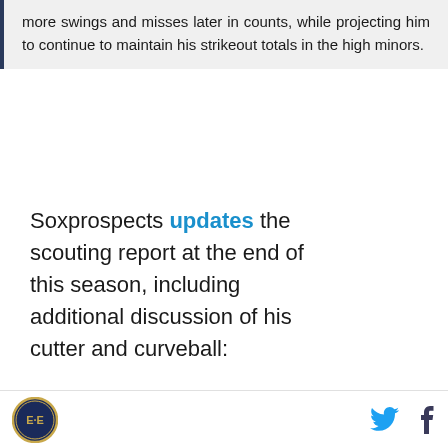more swings and misses later in counts, while projecting him to continue to maintain his strikeout totals in the high minors.
Soxprospects updates the scouting report at the end of this season, including additional discussion of his cutter and curveball:
78-81 MPH curveball has made strides since signing. When he throws it arm side, it shows sweeping backdoor action and is effective against left-handed hitters. Can also bury his curve across the strike zone with harder break. Shows plus depth at times, but can wrap his wrist too much to cause loopy break. Has re-incorporated his cut fastball this season. Sits 85-88 MPH and...